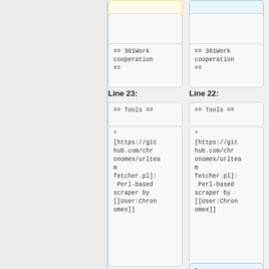== 301Work cooperation ==
== 301Work cooperation ==
Line 23:
Line 22:
== Tools ==
== Tools ==
* [https://github.com/chronomex/urlteamfetcher.pl]: Perl-based scraper by [[User:Chronomex]]
* [https://github.com/chronomex/urlteamfetcher.pl]: Perl-based scraper by [[User:Chronomex]]
*